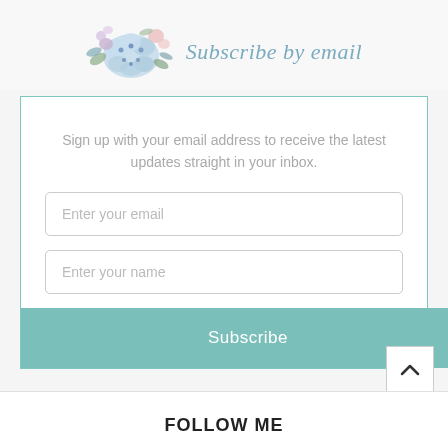[Figure (illustration): Watercolor floral arrangement with blue and purple flowers and leaves]
Subscribe by email
Sign up with your email address to receive the latest updates straight in your inbox.
Enter your email
Enter your name
Subscribe
FOLLOW ME